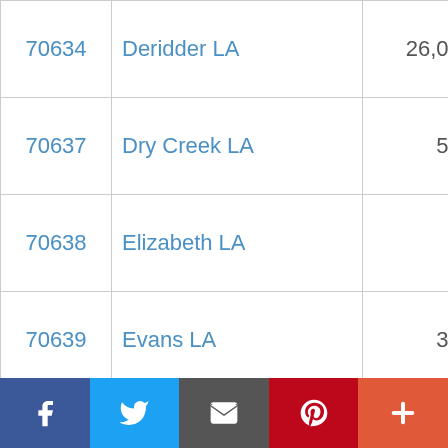| ZIP | City | Population | Change |
| --- | --- | --- | --- |
| 70634 | Deridder LA | 26,072 | 3% |
| 70637 | Dry Creek LA | 520 | -25% |
| 70638 | Elizabeth LA | 2 | -46750% |
| 70639 | Evans LA | 320 | -113% |
| 70640 | Fenton LA |  | 0% |
| 70643 | Grand Chenier LA | 449 | 21% |
| 70644 | Grant LA |  | 0% |
| 70645 | Hackberry LA | 1,181 | -6% |
| 70646 | Hayes LA |  | 0% |
| 70647 | Iowa LA | 8,136 | -6% |